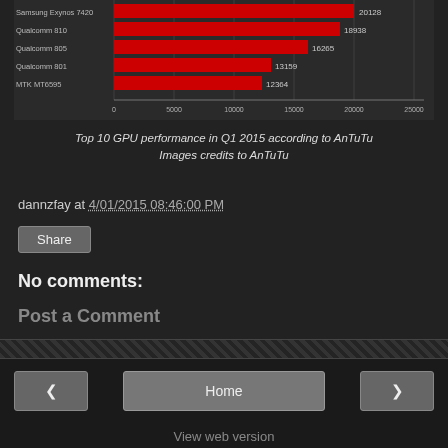[Figure (bar-chart): Top 10 GPU performance in Q1 2015 according to AnTuTu]
Top 10 GPU performance in Q1 2015 according to AnTuTu
Images credits to AnTuTu
dannzfay at 4/01/2015 08:46:00 PM
No comments:
Post a Comment
Home | View web version